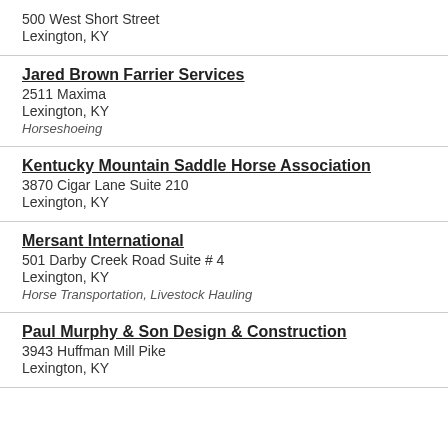500 West Short Street
Lexington, KY
Jared Brown Farrier Services
2511 Maxima
Lexington, KY
Horseshoeing
Kentucky Mountain Saddle Horse Association
3870 Cigar Lane Suite 210
Lexington, KY
Mersant International
501 Darby Creek Road Suite # 4
Lexington, KY
Horse Transportation, Livestock Hauling
Paul Murphy & Son Design & Construction
3943 Huffman Mill Pike
Lexington, KY